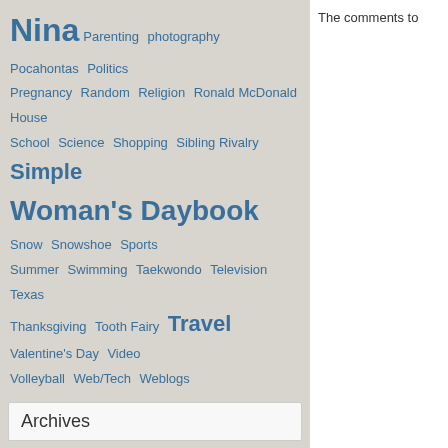Nina Parenting photography Pocahontas Politics Pregnancy Random Religion Ronald McDonald House School Science Shopping Sibling Rivalry Simple Woman's Daybook Snow Snowshoe Sports Summer Swimming Taekwondo Television Texas Thanksgiving Tooth Fairy Travel Valentine's Day Video Volleyball Web/Tech Weblogs
Archives
November 2015
October 2015
September 2015
August 2015
July 2015
June 2015
May 2015
April 2015
March 2015
January 2015
More...
The comments to